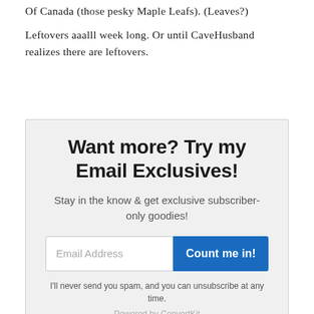Of Canada (those pesky Maple Leafs). (Leaves?)
Leftovers aaalll week long. Or until CaveHusband realizes there are leftovers.
[Figure (other): Email signup box with headline 'Want more? Try my Email Exclusives!', subtext 'Stay in the know & get exclusive subscriber-only goodies!', an email address input field, a 'Count me in!' button, disclaimer text, and 'Powered by ConvertKit' footer.]